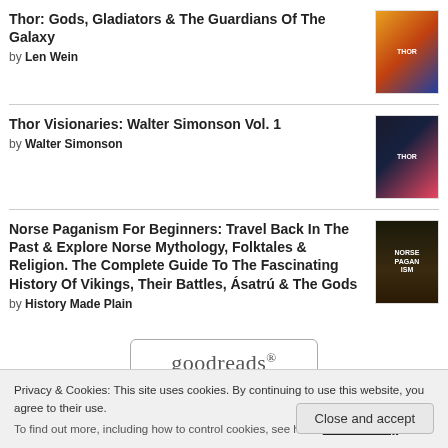Thor: Gods, Gladiators & The Guardians Of The Galaxy by Len Wein
Thor Visionaries: Walter Simonson Vol. 1 by Walter Simonson
Norse Paganism For Beginners: Travel Back In The Past & Explore Norse Mythology, Folktales & Religion. The Complete Guide To The Fascinating History Of Vikings, Their Battles, Ásatrú & The Gods by History Made Plain
[Figure (logo): goodreads logo in a rounded rectangle button]
Privacy & Cookies: This site uses cookies. By continuing to use this website, you agree to their use.
To find out more, including how to control cookies, see here: Cookie Policy